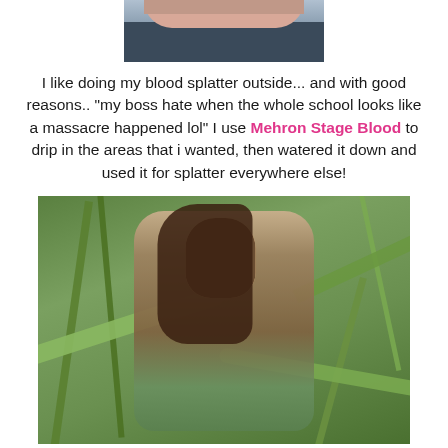[Figure (photo): Partial photo of a person's lower body/lap area cropped at top of page]
I like doing my blood splatter outside... and with good reasons.. "my boss hate when the whole school looks like a massacre happened lol" I use Mehron Stage Blood to drip in the areas that i wanted, then watered it down and used it for splatter everywhere else!
[Figure (photo): Person in zombie/horror makeup with blood splatters on face and clothing, standing in tall grass/corn stalks outdoors]